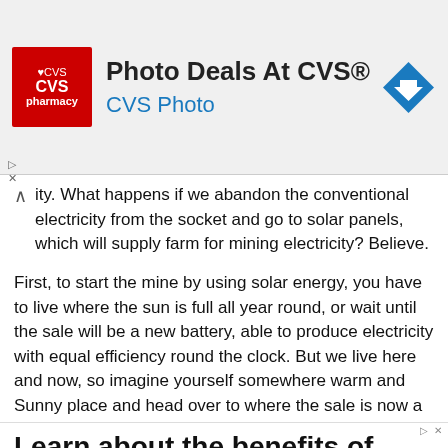[Figure (other): CVS Pharmacy advertisement banner with red CVS logo, text 'Photo Deals At CVS®' and 'CVS Photo' in blue, and a blue navigation diamond icon on the right]
ity. What happens if we abandon the conventional electricity from the socket and go to solar panels, which will supply farm for mining electricity? Believe.
First, to start the mine by using solar energy, you have to live where the sun is full all year round, or wait until the sale will be a new battery, able to produce electricity with equal efficiency round the clock. But we live here and now, so imagine yourself somewhere warm and Sunny place and head over to where the sale is now a unit.
[Figure (other): Advertisement: 'Learn about the benefits of Combined Heat & Power. Receive a free consultation today.']